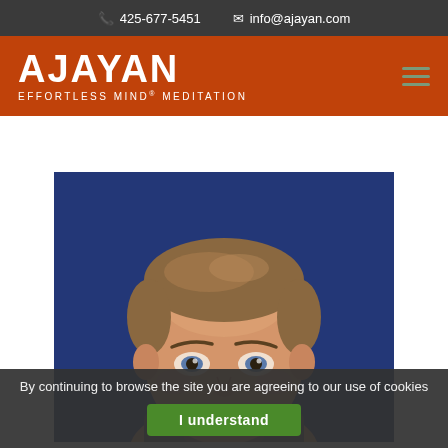📞 425-677-5451  ✉ info@ajayan.com
[Figure (logo): Ajayan Effortless Mind® Meditation logo in white text on orange background, with hamburger menu icon]
[Figure (photo): Close-up portrait photo of a middle-aged man with short blonde/brown hair and blue eyes against a blue background]
By continuing to browse the site you are agreeing to our use of cookies
I understand